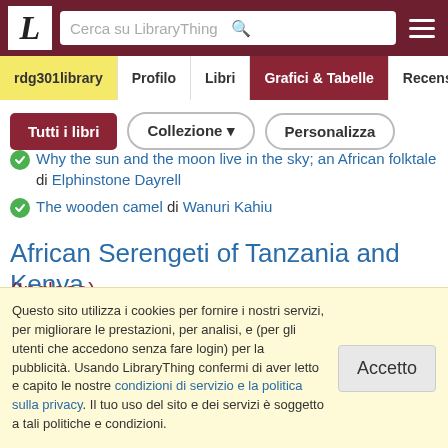LibraryThing - Cerca su LibraryThing
rdg301library | Profilo | Libri | Grafici & Tabelle | Recensioni
Tutti i libri | Collezione | Personalizza
Why the sun and the moon live in the sky; an African folktale di Elphinstone Dayrell
The wooden camel di Wanuri Kahiu
African Serengeti of Tanzania and Kenya
(Inglese)
The lion & the mouse di Jerry Pinkney
Questo sito utilizza i cookies per fornire i nostri servizi, per migliorare le prestazioni, per analisi, e (per gli utenti che accedono senza fare login) per la pubblicità. Usando LibraryThing confermi di aver letto e capito le nostre condizioni di servizio e la politica sulla privacy. Il tuo uso del sito e dei servizi è soggetto a tali politiche e condizioni.